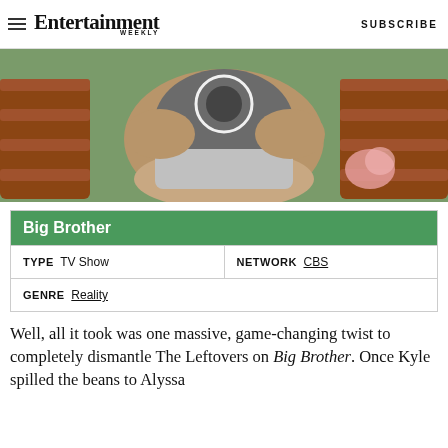Entertainment Weekly | SUBSCRIBE
[Figure (photo): Person sitting on a wooden bench outdoors, wearing a gray tank top and light gray shorts, with a circular loading/play icon overlaid on the image.]
| Big Brother |
| --- |
| TYPE | TV Show | NETWORK | CBS |
| GENRE | Reality |
Well, all it took was one massive, game-changing twist to completely dismantle The Leftovers on Big Brother. Once Kyle spilled the beans to Alyssa